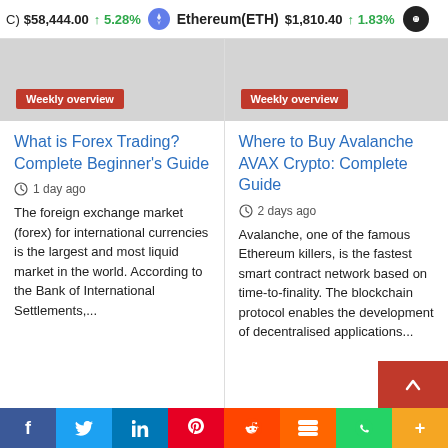C) $58,444.00 ↑5.28% Ethereum(ETH) $1,810.40 ↑1.83%
[Figure (other): Article thumbnail with red Weekly overview badge]
What is Forex Trading? Complete Beginner's Guide
1 day ago
The foreign exchange market (forex) for international currencies is the largest and most liquid market in the world. According to the Bank of International Settlements,...
[Figure (other): Article thumbnail with red Weekly overview badge]
Where to Buy Avalanche AVAX Crypto: Complete Guide
2 days ago
Avalanche, one of the famous Ethereum killers, is the fastest smart contract network based on time-to-finality. The blockchain protocol enables the development of decentralised applications...
f  Twitter  in  Pinterest  Reddit  Mix  WhatsApp  +